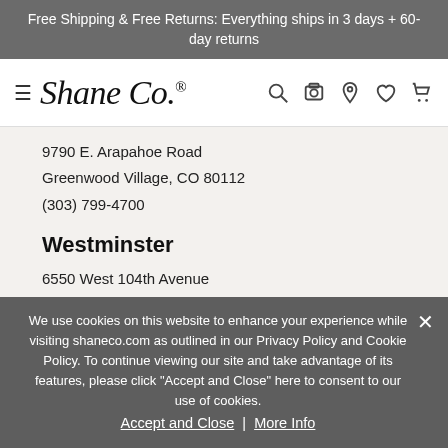Free Shipping & Free Returns: Everything ships in 3 days + 60-day returns
[Figure (logo): Shane Co. logo with hamburger menu icon and navigation icons (search, camera, location, heart, cart)]
9790 E. Arapahoe Road
Greenwood Village, CO 80112
(303) 799-4700
Westminster
6550 West 104th Avenue
Westminster, CO 80020
We use cookies on this website to enhance your experience while visiting shaneco.com as outlined in our Privacy Policy and Cookie Policy. To continue viewing our site and take advantage of its features, please click "Accept and Close" here to consent to our use of cookies.
Accept and Close | More Info